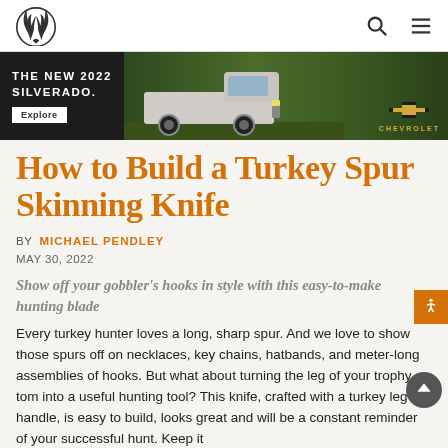Realtree [logo] [search icon] [menu icon]
[Figure (screenshot): Chevrolet Silverado 2022 advertisement banner with dark background, truck image, and Chevrolet logo. Text reads: THE NEW 2022 SILVERADO. with an Explore button.]
How to Build a Turkey Spur Skinning Knife
BY  MICHAEL PENDLEY
MAY 30, 2022
Show off your gobbler's hooks in style with this easy-to-make hunting blade
Every turkey hunter loves a long, sharp spur. And we love to show those spurs off on necklaces, key chains, hatbands, and meter-long assemblies of hooks. But what about turning the leg of your trophy tom into a useful hunting tool? This knife, crafted with a turkey leg handle, is easy to build, looks great and will be a constant reminder of your successful hunt. Keep it